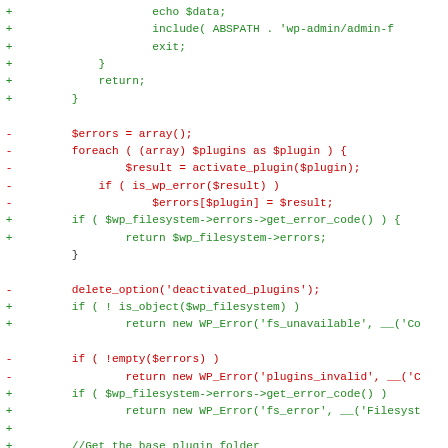[Figure (screenshot): Code diff showing added (green +) and removed (red -) lines in a PHP file for WordPress plugin management. Lines show changes to plugin activation, filesystem checks, and directory handling.]